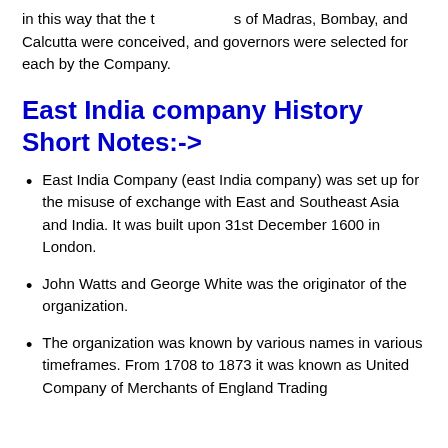in this way that the towns of Madras, Bombay, and Calcutta were conceived, and governors were selected for each by the Company.
East India company History Short Notes:->
East India Company (east India company) was set up for the misuse of exchange with East and Southeast Asia and India. It was built upon 31st December 1600 in London.
John Watts and George White was the originator of the organization.
The organization was known by various names in various timeframes. From 1708 to 1873 it was known as United Company of Merchants of England Trading...